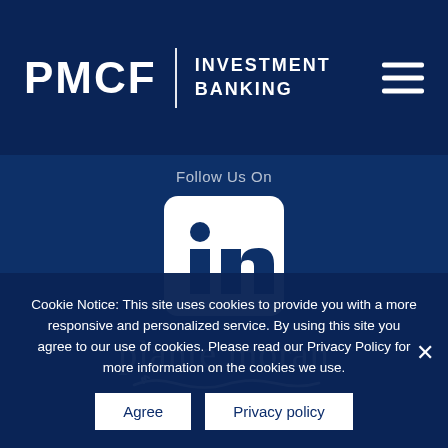PMCF | INVESTMENT BANKING
Follow Us On
[Figure (logo): LinkedIn logo icon — white rounded square with 'in' symbol]
[Figure (logo): Plante Moran logo in white script with decorative underline]
Cookie Notice: This site uses cookies to provide you with a more responsive and personalized service. By using this site you agree to our use of cookies. Please read our Privacy Policy for more information on the cookies we use.
Agree  |  Privacy policy